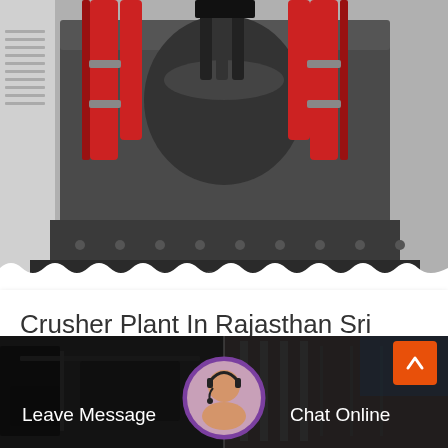[Figure (photo): Industrial crusher/cone crusher machine with red hydraulic cylinders and grey metal body, top view partial shot]
Crusher Plant In Rajasthan Sri Lanka
Crusher plant in rajasthan sri lanka. the products includes five series: crusher, sand making machine, powder grinding mill, mineral processing equipment...
[Figure (photo): Bottom navigation bar with two dark panels: 'Leave Message' on left, 'Chat Online' on right, with a customer service avatar in the center and an orange scroll-to-top chevron button on right]
Leave Message
Chat Online